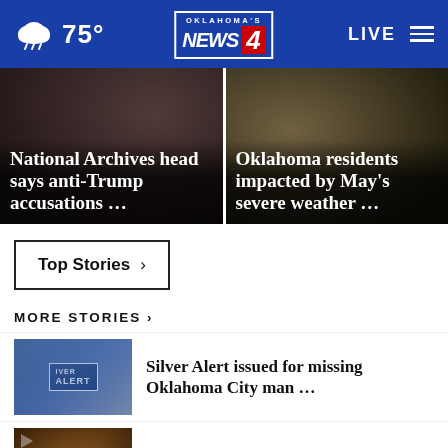75° Oklahoma's News 4 LIVE
[Figure (screenshot): Hero news card 1: National Archives head says anti-Trump accusations ...]
[Figure (screenshot): Hero news card 2: Oklahoma residents impacted by May's severe weather ...]
Top Stories >
MORE STORIES >
[Figure (photo): Silver Alert thumbnail image]
Silver Alert issued for missing Oklahoma City man ...
[Figure (photo): Food thumbnail image for OKC Taste of Asia story]
10 countries in one room: OKC's Taste of Asia